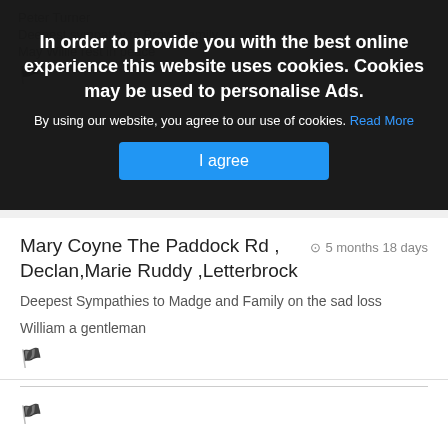In order to provide you with the best online experience this website uses cookies. Cookies may be used to personalise Ads.
By using our website, you agree to our use of cookies. Read More
I agree
Mary Coyne The Paddock Rd , Declan,Marie Ruddy ,Letterbrock
5 months 18 days
Deepest Sympathies to Madge and Family on the sad loss
William a gentleman
Phyl & Tony Durkan
5 months 18 days
Deepest sympathy to Madge and the Brown family on the death